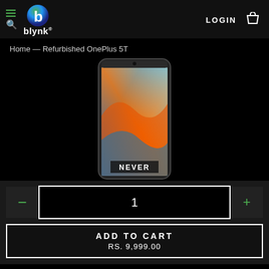blynk® — LOGIN [cart icon]
Home — Refurbished OnePlus 5T
[Figure (photo): OnePlus 5T smartphone showing colorful wallpaper on screen and 'NEVER' text at bottom]
- 1 +
ADD TO CART
RS. 9,999.00